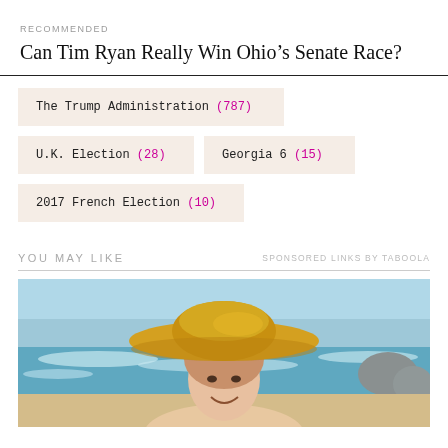RECOMMENDED
Can Tim Ryan Really Win Ohio's Senate Race?
The Trump Administration (787)
U.K. Election (28)
Georgia 6 (15)
2017 French Election (10)
YOU MAY LIKE
SPONSORED LINKS BY TABOOLA
[Figure (photo): Woman at beach wearing a large yellow/golden sun hat, smiling, with ocean waves and rocky coastline in the background]